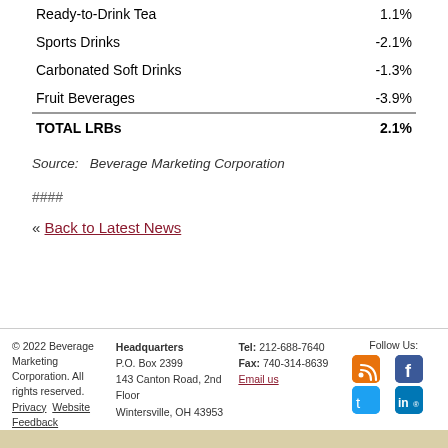| Category | Change |
| --- | --- |
| Ready-to-Drink Tea | 1.1% |
| Sports Drinks | -2.1% |
| Carbonated Soft Drinks | -1.3% |
| Fruit Beverages | -3.9% |
| TOTAL LRBs | 2.1% |
Source:  Beverage Marketing Corporation
####
« Back to Latest News
© 2022 Beverage Marketing Corporation. All rights reserved. Privacy  Website Feedback | Headquarters P.O. Box 2399 143 Canton Road, 2nd Floor Wintersville, OH 43953 | Tel: 212-688-7640 Fax: 740-314-8639 Email us | Follow Us: